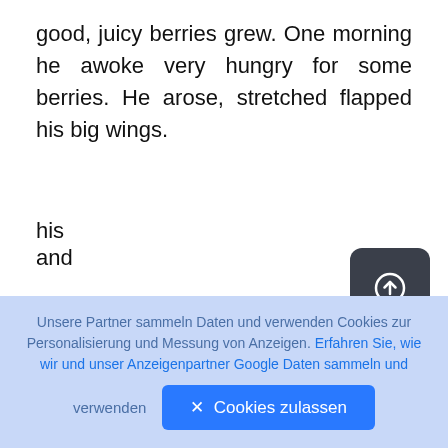good, juicy berries grew. One morning he awoke very hungry for some berries. He arose, stretched flapped his big wings.
his
long
legs,
and
[Figure (other): A dark rounded square button with an upload/arrow-up-in-circle icon in white]
Up, up, up he flew, on his way to the berries. Soon Crane found the berries. He flew down to the
Unsere Partner sammeln Daten und verwenden Cookies zur Personalisierung und Messung von Anzeigen. Erfahren Sie, wie wir und unser Anzeigenpartner Google Daten sammeln und verwenden
✕ Cookies zulassen